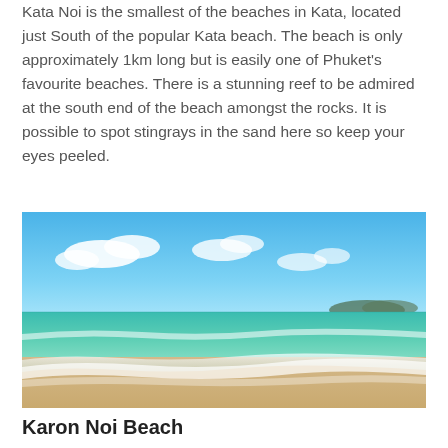Kata Noi is the smallest of the beaches in Kata, located just South of the popular Kata beach. The beach is only approximately 1km long but is easily one of Phuket's favourite beaches. There is a stunning reef to be admired at the south end of the beach amongst the rocks. It is possible to spot stingrays in the sand here so keep your eyes peeled.
[Figure (photo): Photograph of a tropical beach with turquoise ocean waves washing onto white sandy shore, blue sky with white clouds, and a small island or headland visible in the distance on the right.]
Karon Noi Beach